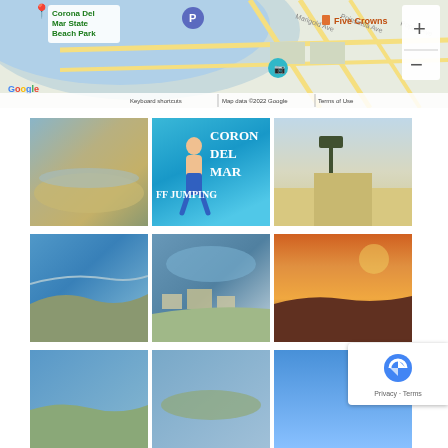[Figure (map): Google Maps showing Corona Del Mar State Beach Park area with street labels, Five Crowns restaurant marker, parking icon, camera icon, zoom controls, and map footer with keyboard shortcuts and copyright]
[Figure (photo): Aerial view of Corona Del Mar beach with sand and shallow water, people on beach]
[Figure (photo): Person jumping into water with text overlay: CORONA DEL MAR CLIFF JUMPING]
[Figure (photo): Path along sandy beach with palm trees and open sky]
[Figure (photo): Aerial view of Corona Del Mar coastline with blue water and rocky shore]
[Figure (photo): Aerial view of Corona Del Mar neighborhood and harbor]
[Figure (photo): Sunset view over Corona Del Mar with orange and purple sky]
[Figure (photo): Aerial coastal view partial at bottom]
[Figure (photo): Aerial view partial at bottom]
[Figure (photo): Blue sky/water partial at bottom]